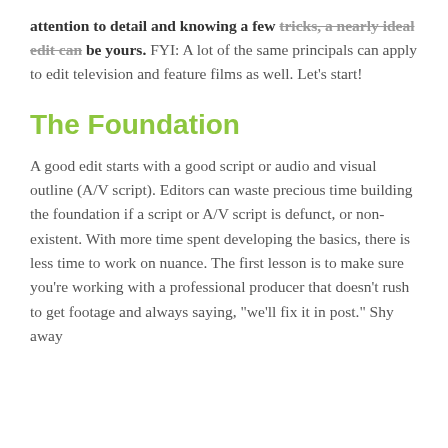attention to detail and knowing a few tricks, a nearly ideal edit can be yours. FYI: A lot of the same principals can apply to edit television and feature films as well. Let's start!
The Foundation
A good edit starts with a good script or audio and visual outline (A/V script). Editors can waste precious time building the foundation if a script or A/V script is defunct, or non-existent. With more time spent developing the basics, there is less time to work on nuance. The first lesson is to make sure you're working with a professional producer that doesn't rush to get footage and always saying, "we'll fix it in post." Shy away